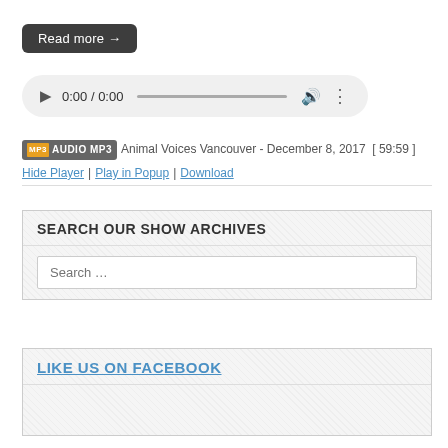Read more →
[Figure (screenshot): Audio player control bar showing play button, time display 0:00 / 0:00, progress bar, volume icon, and more options icon]
AUDIO MP3  Animal Voices Vancouver - December 8, 2017  [ 59:59 ]  Hide Player | Play in Popup | Download
SEARCH OUR SHOW ARCHIVES
Search ...
LIKE US ON FACEBOOK